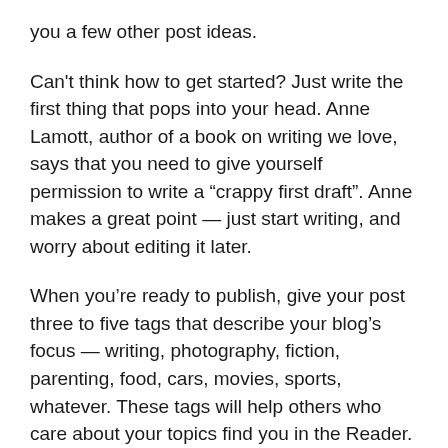you a few other post ideas.
Can't think how to get started? Just write the first thing that pops into your head. Anne Lamott, author of a book on writing we love, says that you need to give yourself permission to write a “crappy first draft”. Anne makes a great point — just start writing, and worry about editing it later.
When you’re ready to publish, give your post three to five tags that describe your blog’s focus — writing, photography, fiction, parenting, food, cars, movies, sports, whatever. These tags will help others who care about your topics find you in the Reader. Make sure one of the tags is “zerotohero,” so other new bloggers can find you, too.